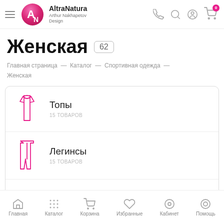AltraNatura — Arthur Nakhapetov Design
Женская 62
Главная страница — Каталог — Спортивная одежда — Женская
Топы — 15 ТОВАРОВ
Легинсы — 15 ТОВАРОВ
Главная  Каталог  Корзина  Избранные  Кабинет  Помощь